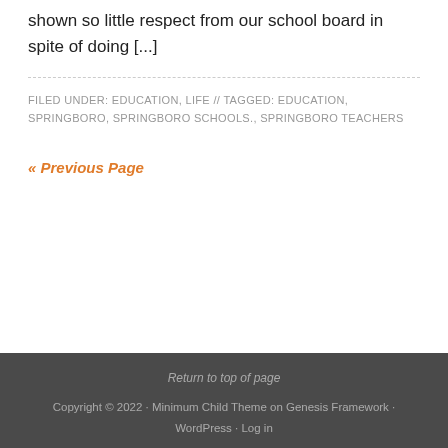shown so little respect from our school board in spite of doing [...]
FILED UNDER: EDUCATION, LIFE // TAGGED: EDUCATION, SPRINGBORO, SPRINGBORO SCHOOLS., SPRINGBORO TEACHERS
« Previous Page
Return to top of page
Copyright © 2022 · Minimum Child Theme on Genesis Framework · WordPress · Log in